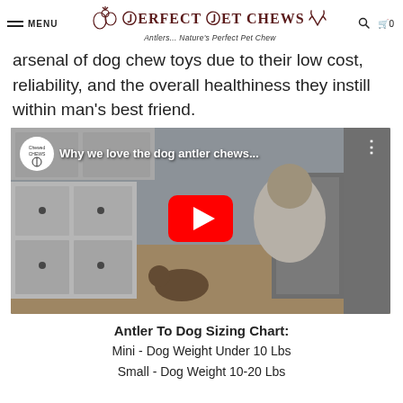MENU | PERFECT PET CHEWS | Antlers... Nature's Perfect Pet Chew
arsenal of dog chew toys due to their low cost, reliability, and the overall healthiness they instill within man's best friend.
[Figure (screenshot): YouTube video thumbnail showing a woman sitting on a kitchen floor with a small dog, with a red YouTube play button overlay. Video title: 'Why we love the dog antler chews...']
Antler To Dog Sizing Chart:
Mini - Dog Weight Under 10 Lbs
Small - Dog Weight 10-20 Lbs